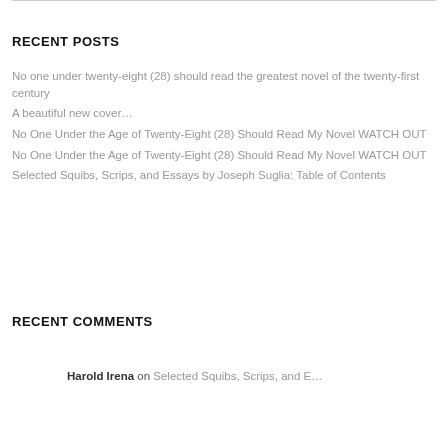RECENT POSTS
No one under twenty-eight (28) should read the greatest novel of the twenty-first century
A beautiful new cover…
No One Under the Age of Twenty-Eight (28) Should Read My Novel WATCH OUT
No One Under the Age of Twenty-Eight (28) Should Read My Novel WATCH OUT
Selected Squibs, Scrips, and Essays by Joseph Suglia: Table of Contents
RECENT COMMENTS
Harold Irena on Selected Squibs, Scrips, and E…